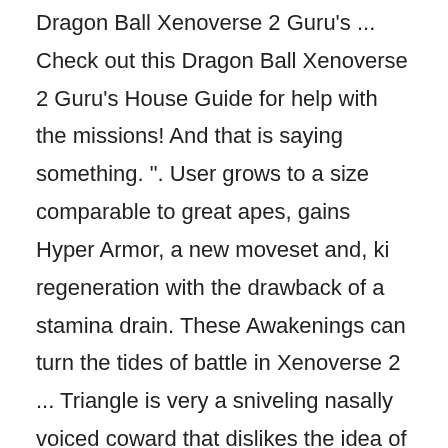Dragon Ball Xenoverse 2 Guru's ... Check out this Dragon Ball Xenoverse 2 Guru's House Guide for help with the missions! And that is saying something. ". User grows to a size comparable to great apes, gains Hyper Armor, a new moveset and, ki regeneration with the drawback of a stamina drain. These Awakenings can turn the tides of battle in Xenoverse 2 ... Triangle is very a sniveling nasally voiced coward that dislikes the idea of him fighting and just wants to be a normal Cabbage Farmer. This edit will also create new pages on Giant Bomb for: Beware, you are proposing to add brand new pages to the wiki along with your edits. Namekians - Giants; All races have access to Potential Unlocked and Kaio-Ken. Always follow up